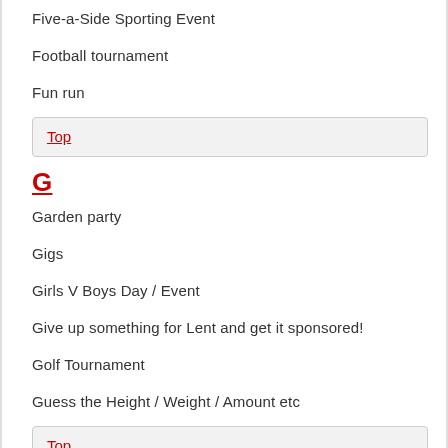Five-a-Side Sporting Event
Football tournament
Fun run
Top
G
Garden party
Gigs
Girls V Boys Day / Event
Give up something for Lent and get it sponsored!
Golf Tournament
Guess the Height / Weight / Amount etc
Top
H
Halloween fancy dress